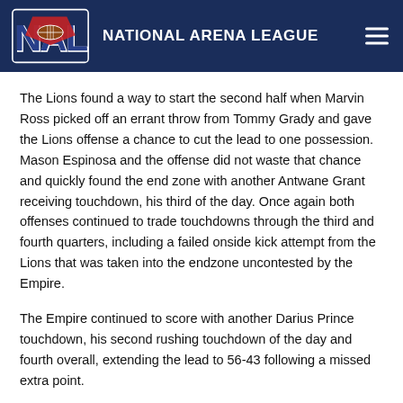NATIONAL ARENA LEAGUE
The Lions found a way to start the second half when Marvin Ross picked off an errant throw from Tommy Grady and gave the Lions offense a chance to cut the lead to one possession. Mason Espinosa and the offense did not waste that chance and quickly found the end zone with another Antwane Grant receiving touchdown, his third of the day. Once again both offenses continued to trade touchdowns through the third and fourth quarters, including a failed onside kick attempt from the Lions that was taken into the endzone uncontested by the Empire.
The Empire continued to score with another Darius Prince touchdown, his second rushing touchdown of the day and fourth overall, extending the lead to 56-43 following a missed extra point.